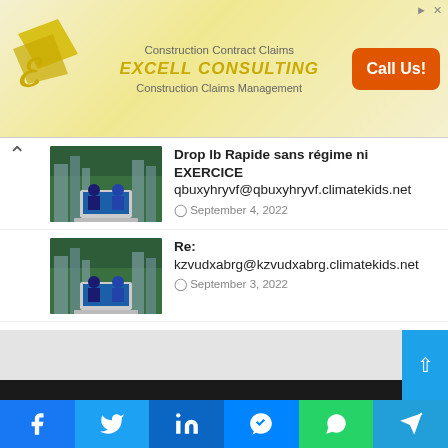[Figure (infographic): Excell Consulting advertisement banner with yellow/gold logo, company name, and orange Call Us button]
Drop lb Rapide sans régime ni EXERCICE
qbuxyhryvf@qbuxyhryvf.climatekids.net
September 4, 2022
Re:
kzvudxabrg@kzvudxabrg.climatekids.net
September 3, 2022
Confirmation! 8205
edxbdhprciikizlrspfve@southsummit.co
September 3, 2022
[Figure (screenshot): Gray footer area with dark bar and blue button with up arrow]
[Figure (infographic): Social sharing bar with Facebook, Twitter, LinkedIn, Messenger, WhatsApp, Telegram icons]